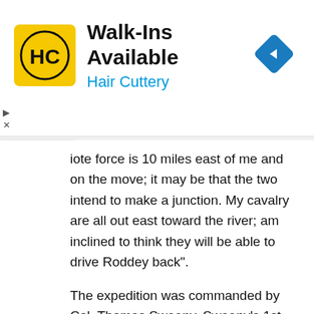[Figure (other): Hair Cuttery advertisement banner with logo and navigation icon. Text reads 'Walk-Ins Available' and 'Hair Cuttery'.]
iote force is 10 miles east of me and on the move; it may be that the two intend to make a junction. My cavalry are all out east toward the river; am inclined to think they will be able to drive Roddey back".
The expedition was commanded by Col. Thomas Sweeny. Sweeny's 1st brigade included 52d Illinois, 65th Indiana, 2d Iowa, 7th Iowa. Confederate cavalry units participating included Roddey's 4th, 5th, and 53rd Alabama cavalry regiments, Williams 22nd Alabama cavalry battalion.